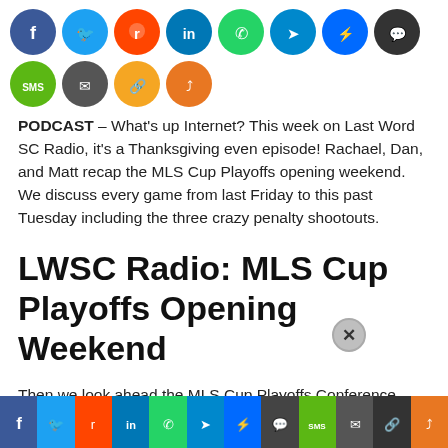[Figure (infographic): Row of social media share icon circles: Facebook (blue), Twitter (light blue), Reddit (orange), LinkedIn (blue), WhatsApp (green), Telegram (blue), Messenger (blue), Chat (dark gray), SMS (green), Email (dark gray). Second row: Link (yellow), Share (orange).]
PODCAST – What's up Internet? This week on Last Word SC Radio, it's a Thanksgiving even episode! Rachael, Dan, and Matt recap the MLS Cup Playoffs opening weekend. We discuss every game from last Friday to this past Tuesday including the three crazy penalty shootouts.
LWSC Radio: MLS Cup Playoffs Opening Weekend
Then we look ahead the MLS Cup Playoffs Conference Semifinals on Sunday, Tuesday, and Wednesday. In the Round Table we do predictions
[Figure (infographic): Bottom social share bar with colored buttons: Facebook (blue), Twitter (light blue), Reddit (orange), LinkedIn (blue), WhatsApp (green), Telegram (blue), Messenger (blue), Chat (dark gray), SMS (green), Email (dark), Link (dark), Share (orange).]